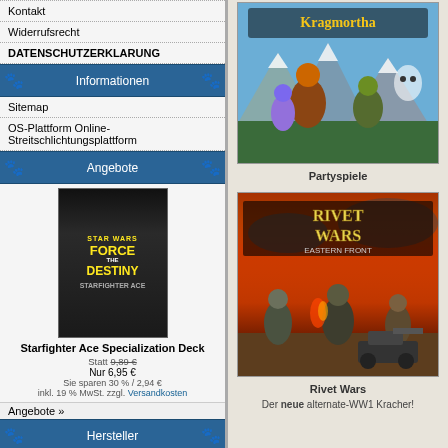Kontakt
Widerrufsrecht
DATENSCHUTZERKLARUNG
Informationen
Sitemap
OS-Plattform Online-Streitschlichtungsplattform
Angebote
[Figure (photo): Star Wars Force and Destiny Starfighter Ace Specialization Deck product image]
Starfighter Ace Specialization Deck
Statt 9,89 € Nur 6,95 € Sie sparen 30 % / 2,94 € inkl. 19 % MwSt. zzgl. Versandkosten
Angebote »
Hersteller
Bitte wählen
Schnellkauf
Bitte geben Sie die Artikelnummer aus unserem Katalog ein.
[Figure (photo): Kragmortha board game cover art - fantasy creatures]
Partyspiele
[Figure (photo): Rivet Wars Eastern Front board game cover art]
Rivet Wars
Der neue alternate-WW1 Kracher!